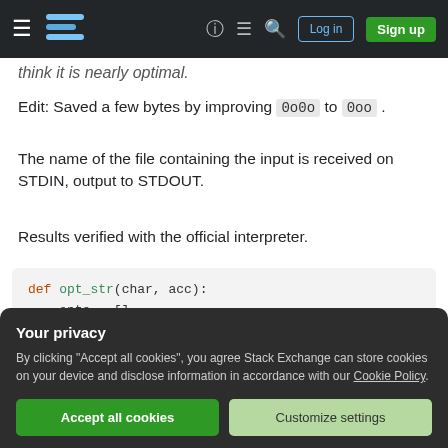Stack Exchange navigation bar with hamburger menu, logo, icons, Log in and Sign up buttons
think it is nearly optimal.
Edit: Saved a few bytes by improving 0o0o to 0oo .
The name of the file containing the input is received on STDIN, output to STDOUT.
Results verified with the official interpreter.
[Figure (screenshot): Python code block showing def opt_str(char, acc): function with opts = [], char_num = ord(char), opts.append(str(char_num))]
Your privacy
By clicking "Accept all cookies", you agree Stack Exchange can store cookies on your device and disclose information in accordance with our Cookie Policy.
if acc == char_num: